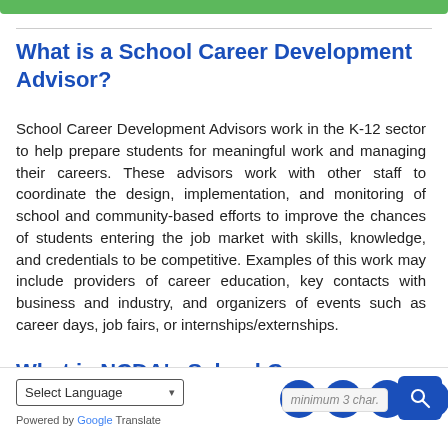What is a School Career Development Advisor?
School Career Development Advisors work in the K-12 sector to help prepare students for meaningful work and managing their careers. These advisors work with other staff to coordinate the design, implementation, and monitoring of school and community-based efforts to improve the chances of students entering the job market with skills, knowledge, and credentials to be competitive. Examples of this work may include providers of career education, key contacts with business and industry, and organizers of events such as career days, job fairs, or internships/externships.
What is NCDA's School Career sor Training?
Select Language
Powered by Google Translate